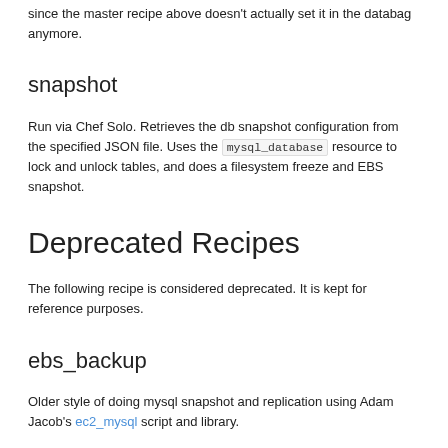since the master recipe above doesn't actually set it in the databag anymore.
snapshot
Run via Chef Solo. Retrieves the db snapshot configuration from the specified JSON file. Uses the mysql_database resource to lock and unlock tables, and does a filesystem freeze and EBS snapshot.
Deprecated Recipes
The following recipe is considered deprecated. It is kept for reference purposes.
ebs_backup
Older style of doing mysql snapshot and replication using Adam Jacob's ec2_mysql script and library.
Data Bags
This cookbook uses the apps data bag item for the specified application; see the application cookbook's README.md. It also creates data bag items in a bag